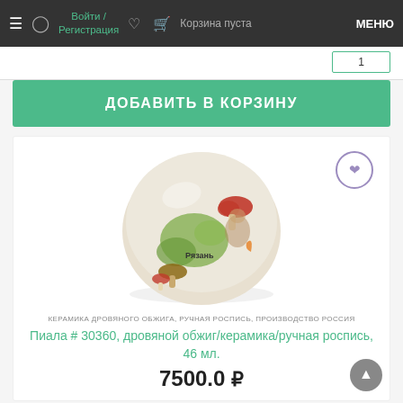≡  Войти / Регистрация  ♡  🛒 Корзина пуста  МЕНЮ
ДОБАВИТЬ В КОРЗИНУ
[Figure (photo): Ceramic bowl (piala) with hand-painted folk art decoration featuring mushrooms and the word 'Рязань' in the center, creamy white background with colorful illustration]
КЕРАМИКА ДРОВЯНОГО ОБЖИГА, РУЧНАЯ РОСПИСЬ, ПРОИЗВОДСТВО РОССИЯ
Пиала # 30360, дровяной обжиг/керамика/ручная роспись, 46 мл.
7500.0 ₽